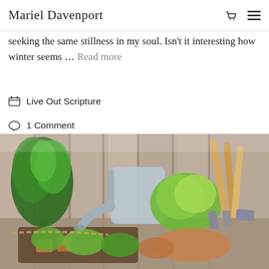Mariel Davenport
seeking the same stillness in my soul. Isn't it interesting how winter seems … Read more
Live Out Scripture
1 Comment
[Figure (photo): Overhead view of gardening scene: green herbs (basil), metal watering can, lettuce seedlings, wooden-handled garden tools (trowel, fork, rake), gardening gloves, small clay pots, and seedling trays arranged on a rustic wooden surface.]